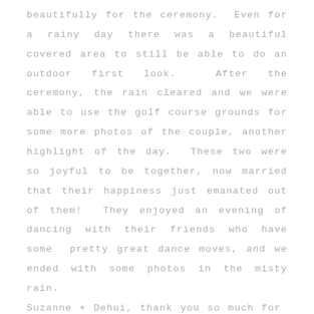beautifully for the ceremony.  Even for a rainy day there was a beautiful covered area to still be able to do an outdoor first look.  After the ceremony, the rain cleared and we were able to use the golf course grounds for some more photos of the couple, another highlight of the day.  These two were so joyful to be together, now married that their happiness just emanated out of them!  They enjoyed an evening of dancing with their friends who have some  pretty great dance moves, and we ended with some photos in the misty rain.

Suzanne + Dehui, thank you so much for